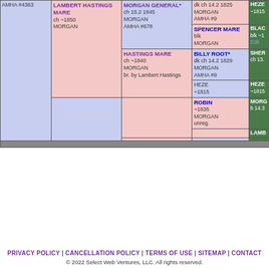[Figure (other): Partial horse pedigree chart showing lineage cells with horse names, colors, dates, and breed registrations. Cells are color-coded blue (male) and pink (female). Visible entries include AMHA #4363, LAMBERT HASTINGS MARE ch ~1850 MORGAN, MORGAN GENERAL* ch 15.2 1845 MORGAN AMHA #678, HASTINGS MARE ch ~1840 MORGAN br. by Lambert Hastings, and further ancestors including BILLY ROOT*, SPENCER MARE, ROBIN, HEZE references, BLAC references, SHER references, LAMB references, MORG references.]
PRIVACY POLICY | CANCELLATION POLICY | TERMS OF USE | SITEMAP | CONTACT
© 2022 Select Web Ventures, LLC. All rights reserved.